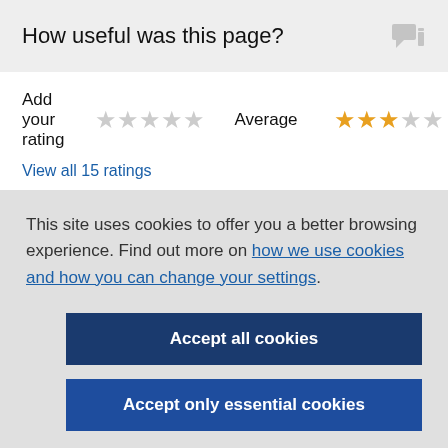How useful was this page?
Add your rating ★★★★★   Average ★★★★★
View all 15 ratings
This site uses cookies to offer you a better browsing experience. Find out more on how we use cookies and how you can change your settings.
Accept all cookies
Accept only essential cookies